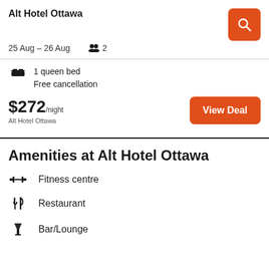Alt Hotel Ottawa
25 Aug – 26 Aug  2
1 queen bed
Free cancellation
$272/night
Alt Hotel Ottawa
View Deal
Amenities at Alt Hotel Ottawa
Fitness centre
Restaurant
Bar/Lounge